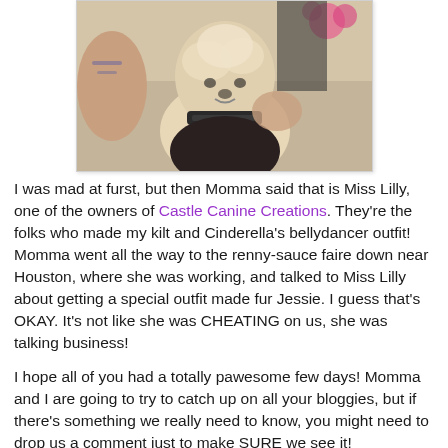[Figure (photo): Photo of a small fluffy dog being held, wearing a dark collar, with a person's tattooed arm visible and flowers in the background]
I was mad at furst, but then Momma said that is Miss Lilly, one of the owners of Castle Canine Creations. They're the folks who made my kilt and Cinderella's bellydancer outfit! Momma went all the way to the renny-sauce faire down near Houston, where she was working, and talked to Miss Lilly about getting a special outfit made fur Jessie. I guess that's OKAY. It's not like she was CHEATING on us, she was talking business!
I hope all of you had a totally pawesome few days! Momma and I are going to try to catch up on all your bloggies, but if there's something we really need to know, you might need to drop us a comment just to make SURE we see it!